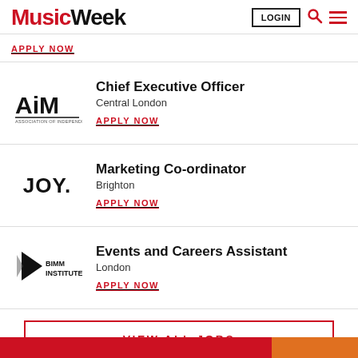Music Week | LOGIN
APPLY NOW
Chief Executive Officer | Central London | APPLY NOW
Marketing Co-ordinator | Brighton | APPLY NOW
Events and Careers Assistant | London | APPLY NOW
VIEW ALL JOBS